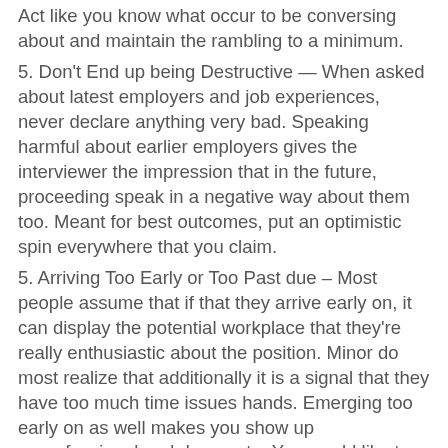Act like you know what occur to be conversing about and maintain the rambling to a minimum.
5. Don't End up being Destructive — When asked about latest employers and job experiences, never declare anything very bad. Speaking harmful about earlier employers gives the interviewer the impression that in the future, proceeding speak in a negative way about them too. Meant for best outcomes, put an optimistic spin everywhere that you claim.
5. Arriving Too Early or Too Past due – Most people assume that if that they arrive early on, it can display the potential workplace that they're really enthusiastic about the position. Minor do most realize that additionally it is a signal that they have too much time issues hands. Emerging too early on as well makes you show up unprofessional and desperate. You would like to ensure that your potential employer knows that you contain a your life and so are positive. Let them know that your time and efforts is valuable. Arriving ten to 12-15 moments early on is ideal. Emerging past too far is certainly an indication that you're not reliable. For no